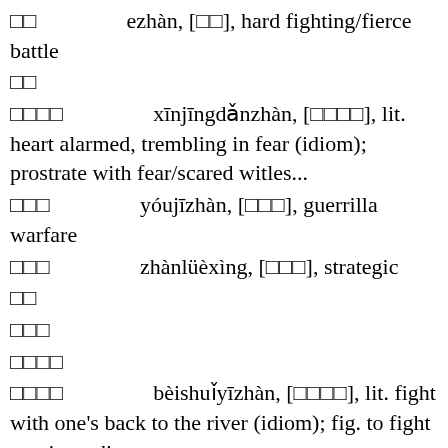□□   ezhàn, [□□], hard fighting/fierce battle
□□
□□□□   xīnjīngdǎnzhàn, [□□□□], lit. heart alarmed, trembling in fear (idiom); prostrate with fear/scared witles...
□□□   yóujīzhàn, [□□□], guerrilla warfare
□□□   zhànlüèxìng, [□□□], strategic
□□
□□□
□□□□
□□□□   bèishuǐyīzhàn, [□□□□], lit. fight with one's back to the river (idiom); fig. to fight to win or die
□□   zhuǎnzhàn, [□□], to fight in one place after another
□□□□
□□   zhàngōng, [□□], outstanding military